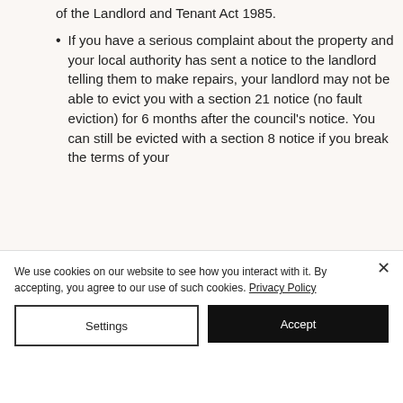the shelter advice on section 11 of the Landlord and Tenant Act 1985.
If you have a serious complaint about the property and your local authority has sent a notice to the landlord telling them to make repairs, your landlord may not be able to evict you with a section 21 notice (no fault eviction) for 6 months after the council's notice. You can still be evicted with a section 8 notice if you break the terms of your
We use cookies on our website to see how you interact with it. By accepting, you agree to our use of such cookies. Privacy Policy
Settings
Accept